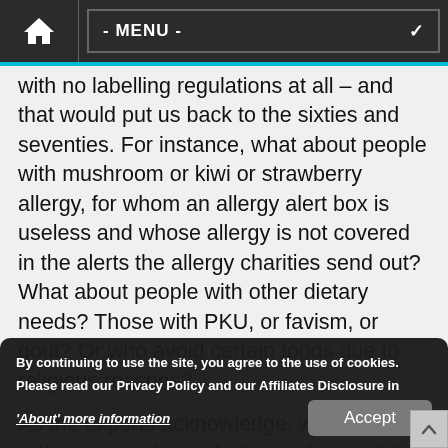- MENU -
with no labelling regulations at all – and that would put us back to the sixties and seventies. For instance, what about people with mushroom or kiwi or strawberry allergy, for whom an allergy alert box is useless and whose allergy is not covered in the alerts the allergy charities send out? What about people with other dietary needs? Those with PKU, or favism, or gout? Or who avoid certain foods due to religious reasons?
As the experts acknowledge, we could do with more studies to better understand the picture of safe gluten thresholds. But there are ethical concerns – face it, would you be happy to submit to gluten micro-challenges every day? That's what science
By continuing to use the site, you agree to the use of cookies. Please read our Privacy Policy and our Affiliates Disclosure in 'About' more information
Accept